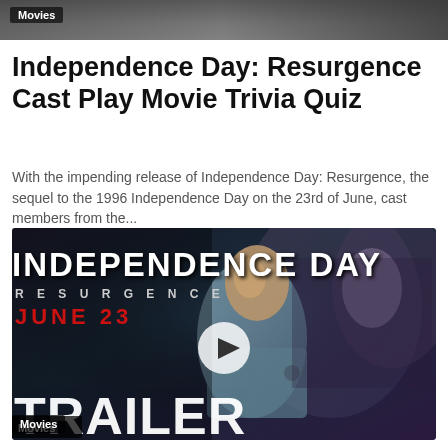[Figure (photo): Dark movie scene image at top with Movies badge overlay]
Movies
Independence Day: Resurgence Cast Play Movie Trivia Quiz
With the impending release of Independence Day: Resurgence, the sequel to the 1996 Independence Day on the 23rd of June, cast members from the...
[Figure (screenshot): Video thumbnail showing Independence Day Resurgence movie trailer with play button overlay. Text shows INDEPENDENCE DAY, RESURGENCE, JUNE 23, TRAILER]
Movies